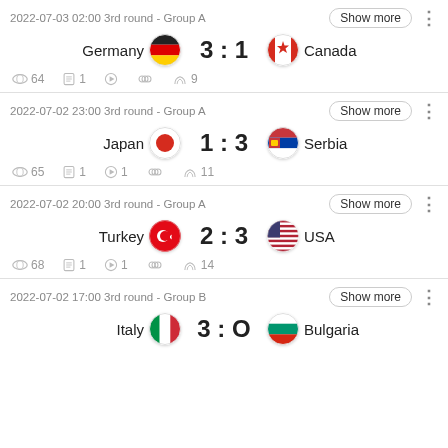2022-07-03 02:00 3rd round - Group A | Germany 3:1 Canada | 64, 1, 9
2022-07-02 23:00 3rd round - Group A | Japan 1:3 Serbia | 65, 1, 1, 11
2022-07-02 20:00 3rd round - Group A | Turkey 2:3 USA | 68, 1, 1, 14
2022-07-02 17:00 3rd round - Group B | Italy 3:0 Bulgaria